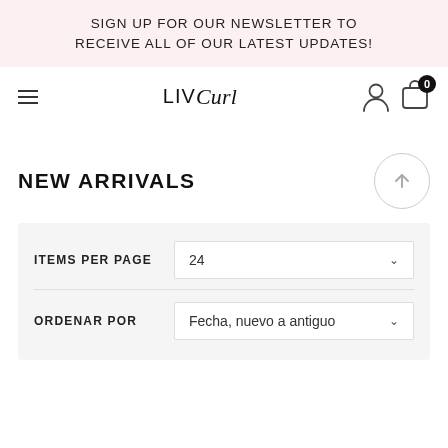SIGN UP FOR OUR NEWSLETTER TO RECEIVE ALL OF OUR LATEST UPDATES!
[Figure (logo): LIVCurl brand logo with hamburger menu, user icon, and cart icon with 0 badge]
NEW ARRIVALS
ITEMS PER PAGE: 24
ORDENAR POR: Fecha, nuevo a antiguo